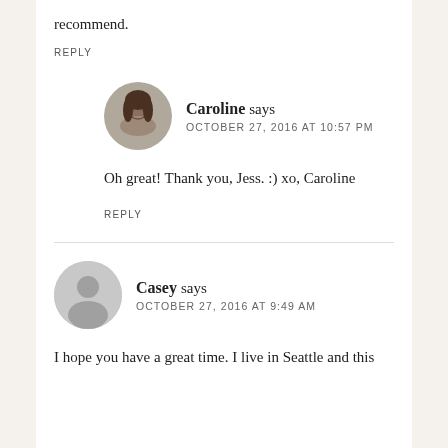recommend.
REPLY
Caroline says
OCTOBER 27, 2016 AT 10:57 PM
Oh great! Thank you, Jess. :) xo, Caroline
REPLY
Casey says
OCTOBER 27, 2016 AT 9:49 AM
I hope you have a great time. I live in Seattle and this